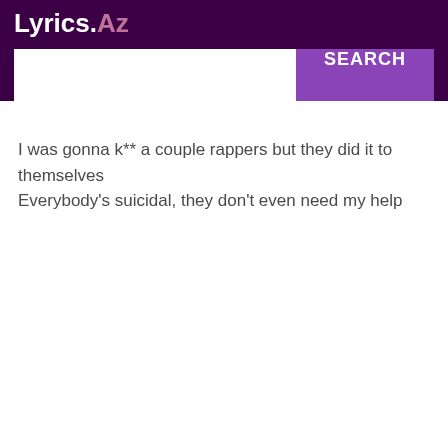Lyrics.Az
I was gonna k** a couple rappers but they did it to themselves
Everybody's suicidal, they don't even need my help